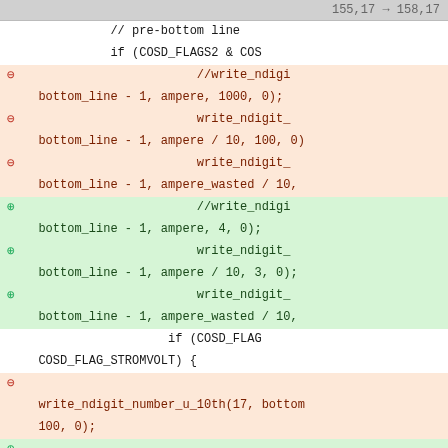155,17 → 158,17
// pre-bottom line
if (COSD_FLAGS2 & COS
removed: //write_ndigi
bottom_line - 1, ampere, 1000, 0);
removed: write_ndigit_
bottom_line - 1, ampere / 10, 100, 0)
removed: write_ndigit_
bottom_line - 1, ampere_wasted / 10,
added: //write_ndigi
bottom_line - 1, ampere, 4, 0);
added: write_ndigit_
bottom_line - 1, ampere / 10, 3, 0);
added: write_ndigit_
bottom_line - 1, ampere_wasted / 10,
if (COSD_FLAG
COSD_FLAG_STROMVOLT) {
removed: write_ndigit_number_u_10th(17, bottom
100, 0);
added: write_ndigit_number_u_10th(17, bottom
3, 0);
}